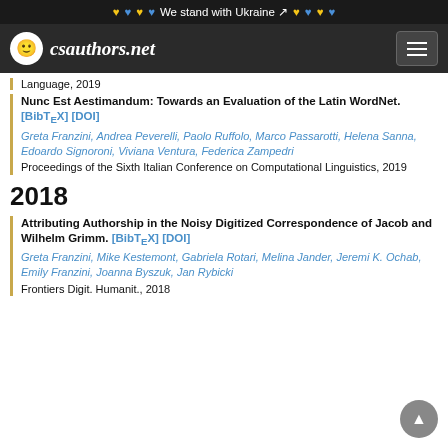We stand with Ukraine — csauthors.net
Language, 2019
Nunc Est Aestimandum: Towards an Evaluation of the Latin WordNet. [BibTeX] [DOI]
Greta Franzini, Andrea Peverelli, Paolo Ruffolo, Marco Passarotti, Helena Sanna, Edoardo Signoroni, Viviana Ventura, Federica Zampedri
Proceedings of the Sixth Italian Conference on Computational Linguistics, 2019
2018
Attributing Authorship in the Noisy Digitized Correspondence of Jacob and Wilhelm Grimm. [BibTeX] [DOI]
Greta Franzini, Mike Kestemont, Gabriela Rotari, Melina Jander, Jeremi K. Ochab, Emily Franzini, Joanna Byszuk, Jan Rybicki
Frontiers Digit. Humanit., 2018